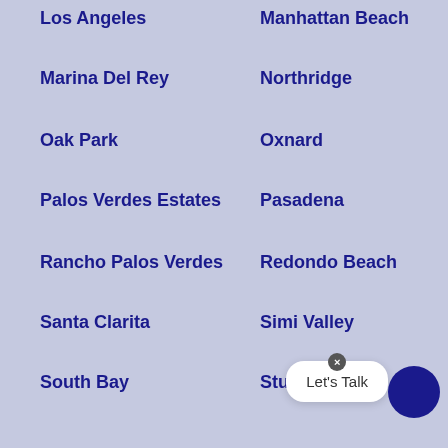Los Angeles
Manhattan Beach
Marina Del Rey
Northridge
Oak Park
Oxnard
Palos Verdes Estates
Pasadena
Rancho Palos Verdes
Redondo Beach
Santa Clarita
Simi Valley
South Bay
Studio City
Thousand Oaks
Torrance
Ventura
West H…